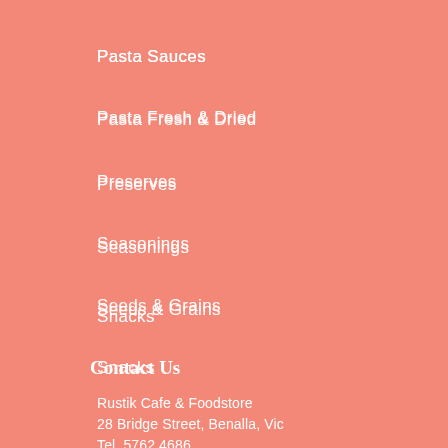Pasta Sauces
Pasta Fresh & Dried
Preserves
Seasonings
Seeds & Grains
Snacks
Contact Us
Rustik Cafe & Foodstore
28 Bridge Street, Benalla, Vic
Tel. 5762 4686